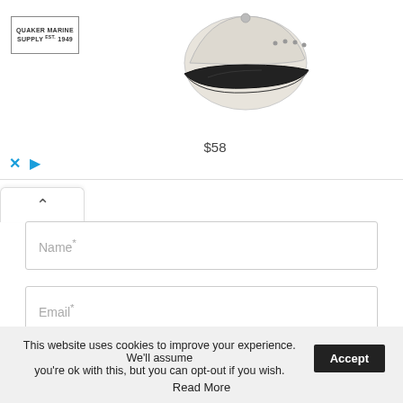[Figure (advertisement): Ad banner for Quaker Marine Supply Est. 1949 showing a baseball cap (black brim, cream crown) priced at $58, with close (X) and play controls at bottom left.]
Name*
Email*
Website
Save my name, email, and website in this browser for the next time I comment.
This website uses cookies to improve your experience. We'll assume you're ok with this, but you can opt-out if you wish.
Accept
Read More